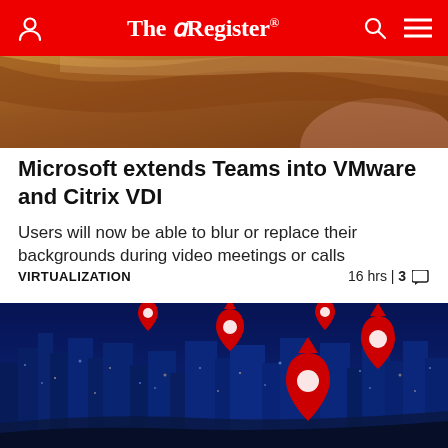The Register
[Figure (photo): Cropped top portion of an article image showing a person's hair/head from above]
Microsoft extends Teams into VMware and Citrix VDI
Users will now be able to blur or replace their backgrounds during video meetings or calls
VIRTUALIZATION   16 hrs | 3
[Figure (photo): Night cityscape (appears to be Tokyo or similar Asian city) with blue tint and red map pin/location markers overlaid on the image]